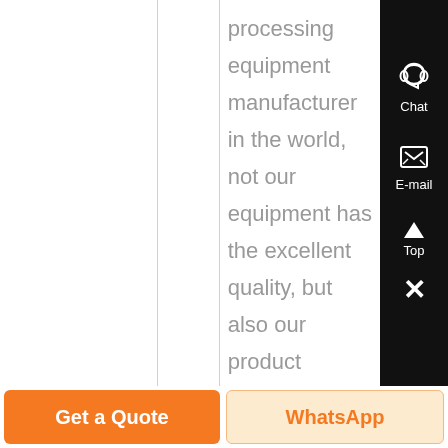processing equipment manufacturer in the world, not our equipment has the excellent quality, but also our product service is very thorough 24/7 online...
Know More
Chat
E-mail
Top
Get a Quote
WhatsApp